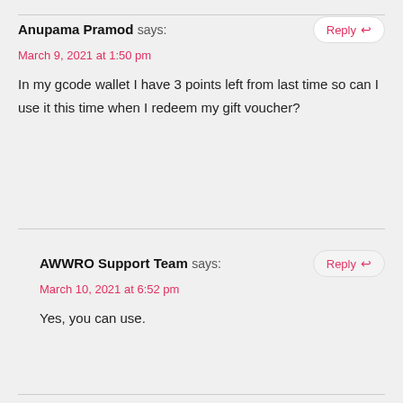Anupama Pramod says:
March 9, 2021 at 1:50 pm
In my gcode wallet I have 3 points left from last time so can I use it this time when I redeem my gift voucher?
AWWRO Support Team says:
March 10, 2021 at 6:52 pm
Yes, you can use.